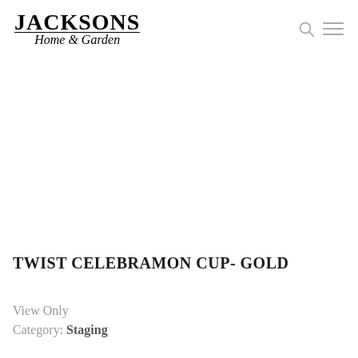JACKSONS Home & Garden
TWIST CELEBRAMON CUP- GOLD
View Only
Category: Staging